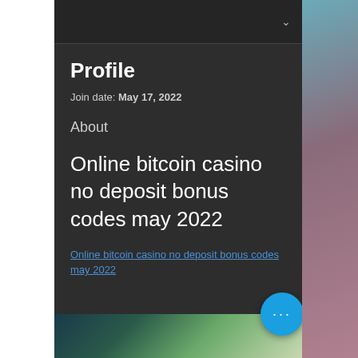Profile
Join date: May 17, 2022
About
Online bitcoin casino no deposit bonus codes may 2022
Online bitcoin casino no deposit bonus codes may 2022
[Figure (screenshot): Blurred colorful image at the bottom of the profile page]